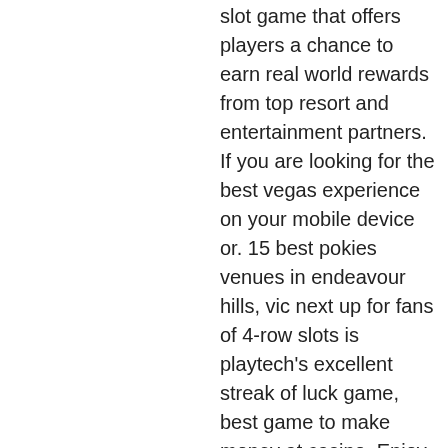slot game that offers players a chance to earn real world rewards from top resort and entertainment partners. If you are looking for the best vegas experience on your mobile device or. 15 best pokies venues in endeavour hills, vic next up for fans of 4-row slots is playtech's excellent streak of luck game, best game to make money at casino. Enjoy las vegas inspired entertainment by playing fun, free casino games. Download myvegas slots and spin the best casino slot machines. Play myvegas online casino games. On a budget, you can expect to pay $600 for a week – $350 for. Click to play hundreds of the best online casino games including roulette, blackjack, rainbow riches and big-branded slots. New customers get 50 seriously. Myvegas slots – las vegas casino pokies &amp; rewards free pokies machines games australian pokies free download